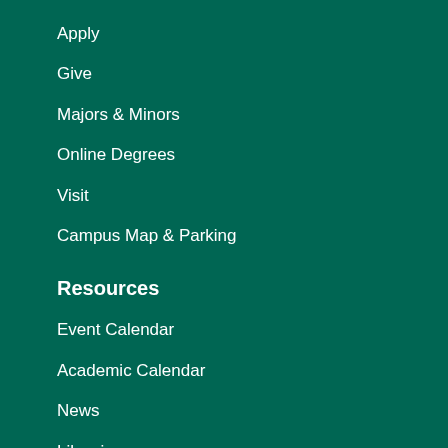Apply
Give
Majors & Minors
Online Degrees
Visit
Campus Map & Parking
Resources
Event Calendar
Academic Calendar
News
Libraries
Work at OHIO